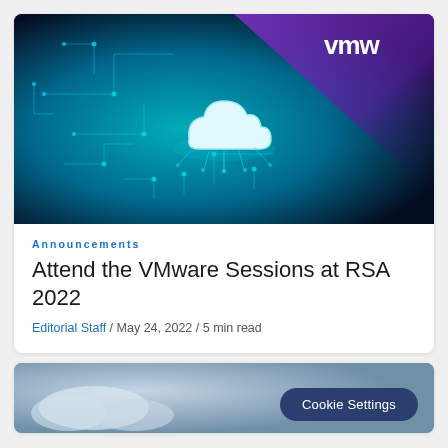[Figure (photo): Circuit board with cloud icon glowing in blue/cyan tones, VMware logo in upper right corner with purple gradient overlay]
Announcements
Attend the VMware Sessions at RSA 2022
Editorial Staff / May 24, 2022 / 5 min read
[Figure (photo): Partial image showing cloudy sky in blue-grey tones, with Cookie Settings button overlay]